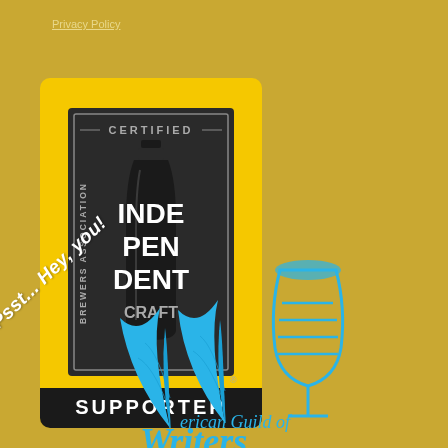Privacy Policy
[Figure (logo): Brewers Association Certified Independent Craft Supporter badge — yellow/gold rectangular badge with black bottle silhouette and text INDE PEN DENT CRAFT, BREWERS ASSOCIATION, CERTIFIED, and SUPPORTER]
[Figure (logo): American Guild of Writers logo — two blue feather quills and a blue beer glass/tulip glass, with text 'erican Guild of Writers' in blue (partially visible)]
Psst... Hey, you!